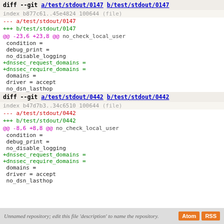diff --git a/test/stdout/0147 b/test/stdout/0147
index b877c61..45e4824 100644 (file)
--- a/test/stdout/0147
+++ b/test/stdout/0147
@@ -23,6 +23,8 @@ no_check_local_user
condition =
 debug_print =
 no_disable_logging
+dnssec_request_domains =
+dnssec_require_domains =
 domains =
 driver = accept
 no_dsn_lasthop
diff --git a/test/stdout/0442 b/test/stdout/0442
index b47d7b3..34c6510 100644 (file)
--- a/test/stdout/0442
+++ b/test/stdout/0442
@@ -8,6 +8,8 @@ no_check_local_user
condition =
 debug_print =
 no_disable_logging
+dnssec_request_domains =
+dnssec_require_domains =
 domains =
 driver = accept
 no_dsn_lasthop
Unnamed repository; edit this file 'description' to name the repository.